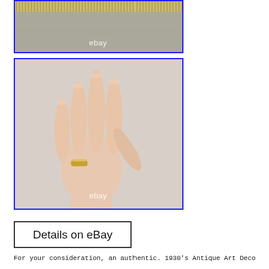[Figure (photo): Close-up photo of a coin edge and rim detail on a metallic background, with ebay watermark]
[Figure (photo): Photo of a mannequin hand wearing a gold antique Art Deco ring on the ring finger, with ebay watermark]
Details on eBay
For your consideration, an authentic. 1930's Antique Art Deco